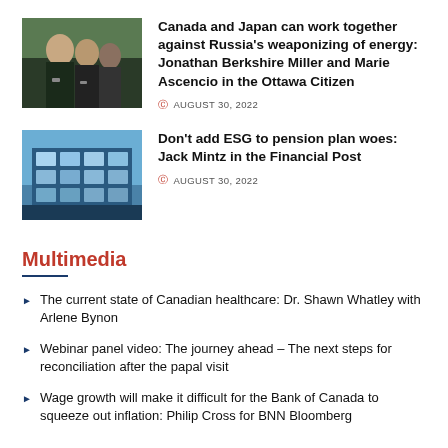[Figure (photo): Photo of two men speaking at a press event outdoors]
Canada and Japan can work together against Russia's weaponizing of energy: Jonathan Berkshire Miller and Marie Ascencio in the Ottawa Citizen
AUGUST 30, 2022
[Figure (photo): Photo of a modern glass office building]
Don't add ESG to pension plan woes: Jack Mintz in the Financial Post
AUGUST 30, 2022
Multimedia
The current state of Canadian healthcare: Dr. Shawn Whatley with Arlene Bynon
Webinar panel video: The journey ahead – The next steps for reconciliation after the papal visit
Wage growth will make it difficult for the Bank of Canada to squeeze out inflation: Philip Cross for BNN Bloomberg